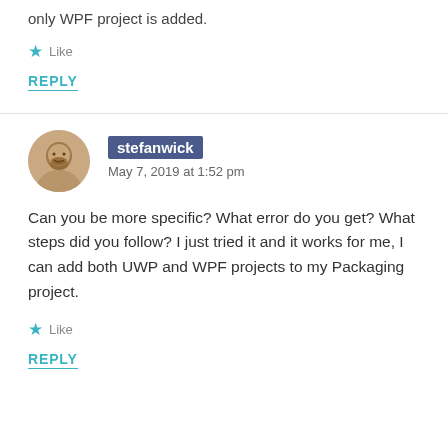only WPF project is added.
Like
REPLY
stefanwick
May 7, 2019 at 1:52 pm
Can you be more specific? What error do you get? What steps did you follow? I just tried it and it works for me, I can add both UWP and WPF projects to my Packaging project.
Like
REPLY